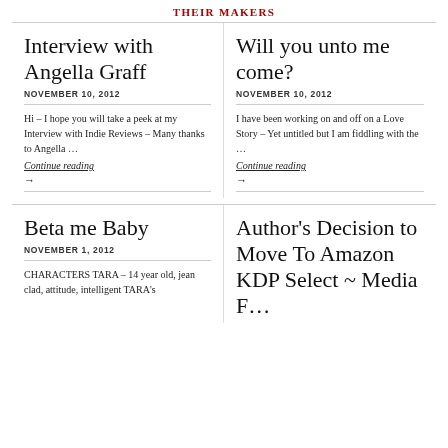THEIR MAKERS
Interview with Angella Graff
NOVEMBER 10, 2012
Hi – I hope you will take a peek at my Interview with Indie Reviews – Many thanks to Angella …
Continue reading
Will you unto me come?
NOVEMBER 10, 2012
I have been working on and off on a Love Story – Yet untitled but I am fiddling with the …
Continue reading
Beta me Baby
NOVEMBER 1, 2012
CHARACTERS TARA – 14 year old, jean clad, attitude, intelligent TARA's
Author's Decision to Move To Amazon KDP Select ~ Media F…